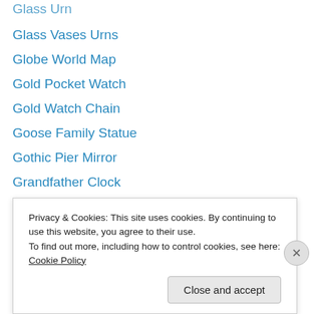Glass Urn
Glass Vases Urns
Globe World Map
Gold Pocket Watch
Gold Watch Chain
Goose Family Statue
Gothic Pier Mirror
Grandfather Clock
Greek God Bronze Bust
Greek God Stone Bust
Grizzly Bear Statue
Guardian Statue
hall mirror
Hall Table
Privacy & Cookies: This site uses cookies. By continuing to use this website, you agree to their use.
To find out more, including how to control cookies, see here: Cookie Policy
Close and accept